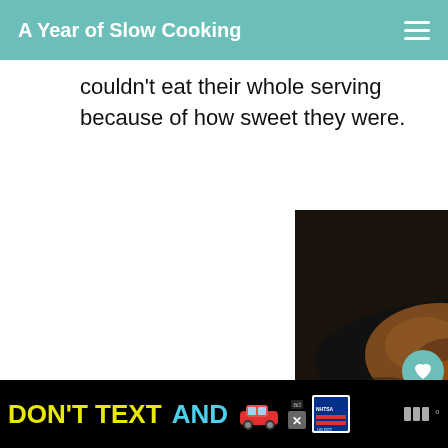A Year of Slow Cooking
couldn't eat their whole serving because of how sweet they were.
[Figure (photo): Photo of apple dumplings on a dark plate topped with a scoop of vanilla ice cream, with text overlay reading HOW TO MAKE Apple Dumplings in the slow cooker, ayearofslowcooking.com]
WHAT'S NEXT → CrockPot Applesauce...
[Figure (photo): Ad banner: DON'T TEXT AND with a car graphic and NHTSA branding]